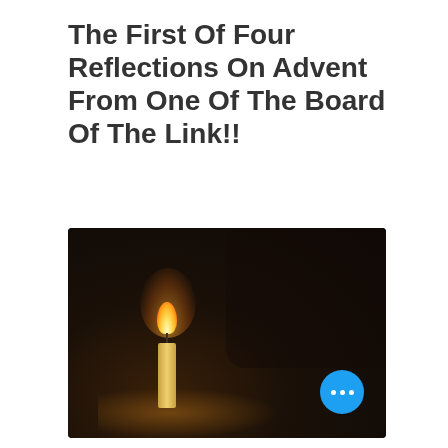The First Of Four Reflections On Advent From One Of The Board Of The Link!!
[Figure (photo): A dark photograph of a single lit candle with a warm glowing flame against a very dark background, with soft golden light reflecting on the surface below.]